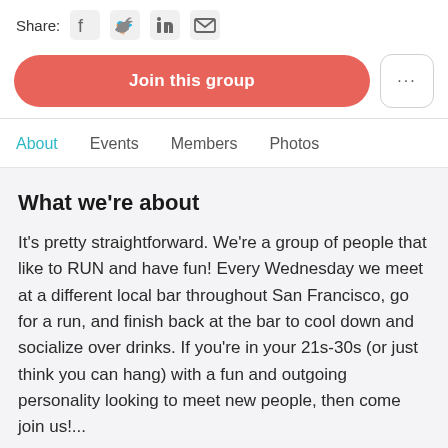Share:
[Figure (screenshot): Social share icons: Facebook, Twitter, LinkedIn, Email]
[Figure (screenshot): Join this group button (coral/red) and a more options button (...)]
About   Events   Members   Photos
What we're about
It's pretty straightforward. We're a group of people that like to RUN and have fun! Every Wednesday we meet at a different local bar throughout San Francisco, go for a run, and finish back at the bar to cool down and socialize over drinks. If you're in your 21s-30s (or just think you can hang) with a fun and outgoing personality looking to meet new people, then come join us!...